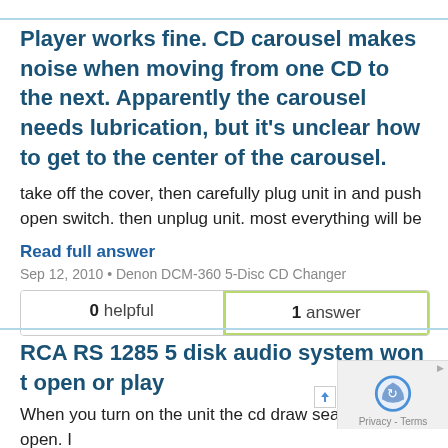Player works fine. CD carousel makes noise when moving from one CD to the next. Apparently the carousel needs lubrication, but it's unclear how to get to the center of the carousel.
take off the cover, then carefully plug unit in and push open switch. then unplug unit. most everything will be
Read full answer
Sep 12, 2010 • Denon DCM-360 5-Disc CD Changer
| helpful | answer |
| --- | --- |
| 0 helpful | 1 answer |
RCA RS 1285 5 disk audio system won t open or play
When you turn on the unit the cd draw seams to open. I